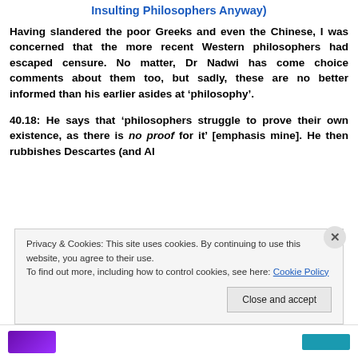Insulting Philosophers Anyway)
Having slandered the poor Greeks and even the Chinese, I was concerned that the more recent Western philosophers had escaped censure. No matter, Dr Nadwi has come choice comments about them too, but sadly, these are no better informed than his earlier asides at ‘philosophy’.
40.18: He says that ‘philosophers struggle to prove their own existence, as there is no proof for it’ [emphasis mine]. He then rubbishes Descartes (and Al
Privacy & Cookies: This site uses cookies. By continuing to use this website, you agree to their use.
To find out more, including how to control cookies, see here: Cookie Policy